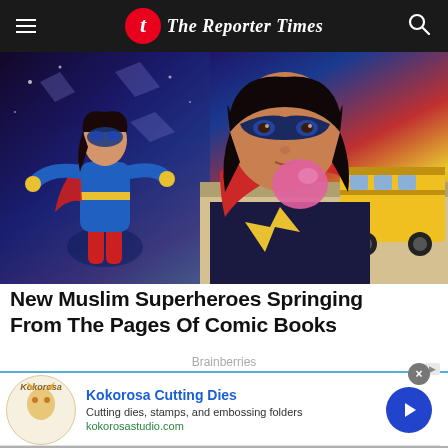The Reporter Times
[Figure (illustration): Comic book style illustration of Ms. Marvel / Kamala Khan, a Muslim superhero in blue and red costume with mask, blowing a pink bubble gum bubble, with a yellow school bus in background. Left side shows a different pose of the same character in a cosmic setting.]
New Muslim Superheroes Springing From The Pages Of Comic Books
Brainberries
Kokorosa Cutting Dies
Cutting dies, stamps, and embossing folders
kokorosastudio.com